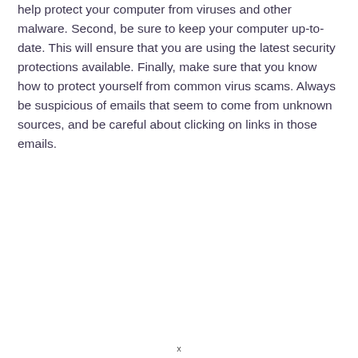help protect your computer from viruses and other malware. Second, be sure to keep your computer up-to-date. This will ensure that you are using the latest security protections available. Finally, make sure that you know how to protect yourself from common virus scams. Always be suspicious of emails that seem to come from unknown sources, and be careful about clicking on links in those emails.
x